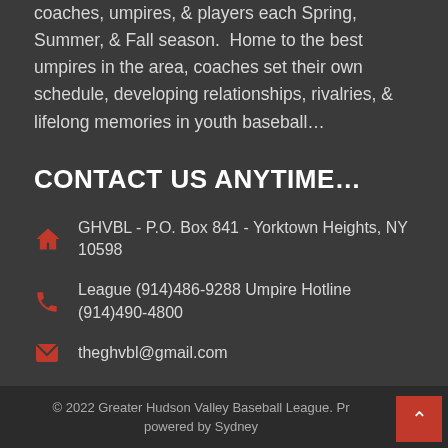coaches, umpires, & players each Spring, Summer, & Fall season.  Home to the best umpires in the area, coaches set their own schedule, developing relationships, rivalries, & lifelong memories in youth baseball…
CONTACT US ANYTIME…
GHVBL - P.O. Box 841 - Yorktown Heights, NY 10598
League (914)486-9288 Umpire Hotline (914)490-4800
theghvbl@gmail.com
© 2022 Greater Hudson Valley Baseball League. Pr powered by Sydney